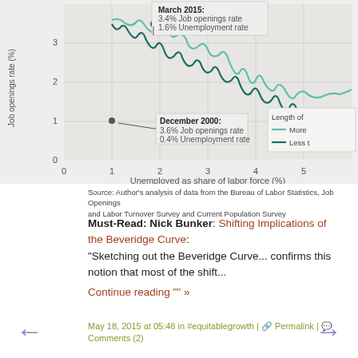[Figure (continuous-plot): Beveridge Curve scatter/line plot showing Job openings rate (%) on y-axis vs Unemployed as share of labor force (%) on x-axis. Two annotated points: December 2000 (3.6% Job openings rate, 0.4% Unemployment rate) and March 2015 (3.4% Job openings rate, 1.6% Unemployment rate). Legend shows 'Length of ...' with More (light teal) and Less (dark teal) lines.]
Source: Author's analysis of data from the Bureau of Labor Statistics, Job Openings and Labor Turnover Survey and Current Population Survey
Must-Read: Nick Bunker: Shifting Implications of the Beveridge Curve: "Sketching out the Beveridge Curve... confirms this notion that most of the shift...
Continue reading "" »
May 18, 2015 at 05:48 in #equitablegrowth | Permalink | Comments (2)